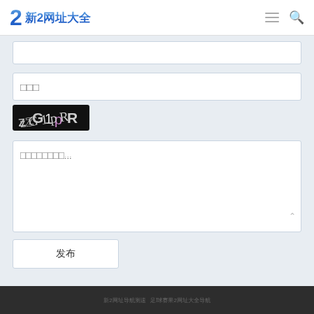2 新2网址大全
□□□
[Figure (other): CAPTCHA image showing 'zG1pR' text on black background]
□□□□□□□□...
发布
新2网址导航测速  足球赛果2网址大全导航